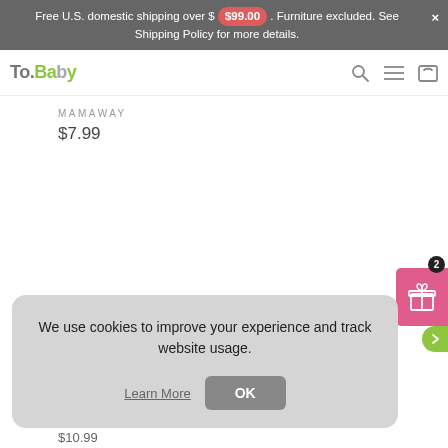Free U.S. domestic shipping over $ $99.00 . Furniture excluded. See Shipping Policy for more details.
[Figure (logo): To Baby logo with green letters]
MAMAWAY
$7.99
[Figure (other): Pink gift/rewards widget button with badge showing 2]
We use cookies to improve your experience and track website usage.
Learn More
OK
$10.99